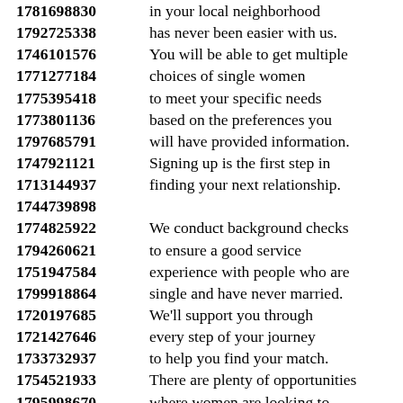1781698830 in your local neighborhood
1792725338 has never been easier with us.
1746101576 You will be able to get multiple
1771277184 choices of single women
1775395418 to meet your specific needs
1773801136 based on the preferences you
1797685791 will have provided information.
1747921121 Signing up is the first step in
1713144937 finding your next relationship.
1744739898
1774825922 We conduct background checks
1794260621 to ensure a good service
1751947584 experience with people who are
1799918864 single and have never married.
1720197685 We'll support you through
1721427646 every step of your journey
1733732937 to help you find your match.
1754521933 There are plenty of opportunities
1795998670 where women are looking to
1722415576 connect with someone special.
1746644879 Feel free to explore and have fun
1733466311 because there are no expectations
1742493134 of any emotional connection
1730308101 with single people near you.
1772644915
1799714624 We want you to find love